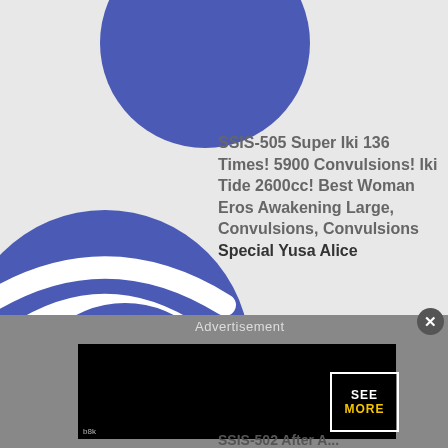[Figure (screenshot): Screenshot of a webpage showing a WiFi icon (white WiFi symbol on blue circles) on a light gray background, with an advertisement overlay (black video player with SEE MORE watermark) and a text block on the right side.]
SSIS-505 Super Iki 136 Times! 5900 Convulsions! Iki Tide 2600cc! Best Woman Eros Awakening Large, Convulsions, Convulsions Special Yusa Alice
Advertisement
b8k
SSIS-502 After A...